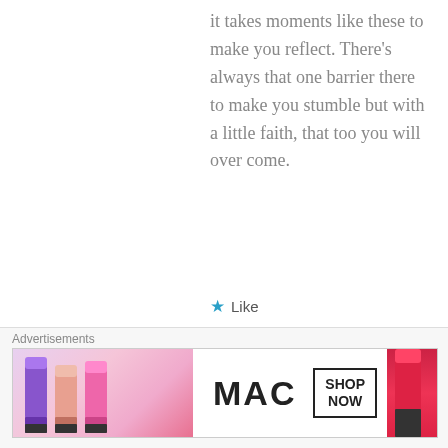it takes moments like these to make you reflect. There's always that one barrier there to make you stumble but with a little faith, that too you will over come.
★ Like
beautybeyondbones says: August 29, 2016 at 6:46 pm
[Figure (logo): MAC cosmetics advertisement banner with colorful lipsticks and SHOP NOW button]